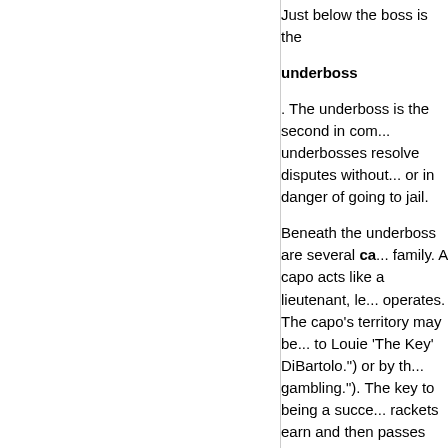Just below the boss is the
underboss
. The underboss is the second in com... underbosses resolve disputes without... or in danger of going to jail.
Beneath the underboss are several ca... family. A capo acts like a lieutenant, le... operates. The capo's territory may be... to Louie 'The Key' DiBartolo.") or by th... gambling."). The key to being a succe... rackets earn and then passes the res...
The "dirty work" is done by the soldiers... family, but they hold little power and n... given capo can vary tremendously.
In addition to soldiers, the Mafia will u... they work with Mafia soldiers and cap... who works with the mob, including an... police officer or politician.
There is one other position within the... is not supposed to be part of the fami...